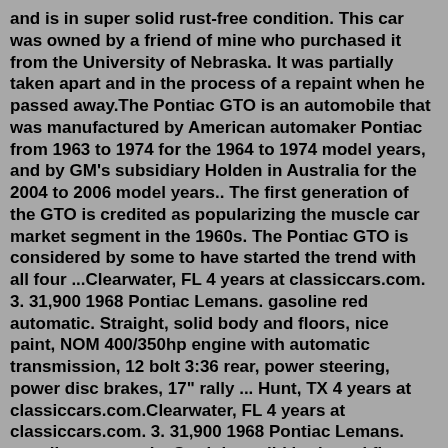and is in super solid rust-free condition. This car was owned by a friend of mine who purchased it from the University of Nebraska. It was partially taken apart and in the process of a repaint when he passed away.The Pontiac GTO is an automobile that was manufactured by American automaker Pontiac from 1963 to 1974 for the 1964 to 1974 model years, and by GM's subsidiary Holden in Australia for the 2004 to 2006 model years.. The first generation of the GTO is credited as popularizing the muscle car market segment in the 1960s. The Pontiac GTO is considered by some to have started the trend with all four ...Clearwater, FL 4 years at classiccars.com. 3. 31,900 1968 Pontiac Lemans. gasoline red automatic. Straight, solid body and floors, nice paint, NOM 400/350hp engine with automatic transmission, 12 bolt 3:36 rear, power steering, power disc brakes, 17" rally ... Hunt, TX 4 years at classiccars.com.Clearwater, FL 4 years at classiccars.com. 3. 31,900 1968 Pontiac Lemans. gasoline automatic. Straight, solid body and floors,